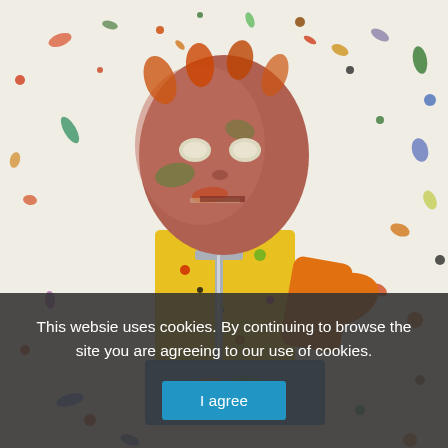[Figure (illustration): A colorful expressionist painting of a stylized human figure with an oversized reddish-brown head and hollow eyes, wearing a yellow and orange shirt, holding a metallic tool, with a blue box at the bottom. The background is white with scattered paint splatters in many colors.]
This websie uses cookies. By continuing to browse the site you are agreeing to our use of cookies.